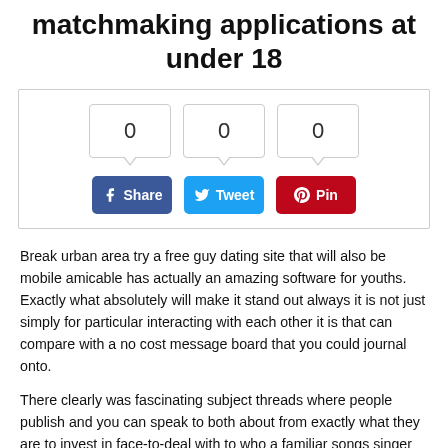matchmaking applications at under 18
[Figure (infographic): Social share widget with count boxes showing 0 for Facebook, Twitter, and Pinterest, and corresponding Share, Tweet, and Pin buttons below.]
Break urban area try a free guy dating site that will also be mobile amicable has actually an amazing software for youths. Exactly what absolutely will make it stand out always it is not just simply for particular interacting with each other it is that can compare with a no cost message board that you could journal onto.
There clearly was fascinating subject threads where people publish and you can speak to both about from exactly what they are to invest in face-to-deal with to who a familiar songs singer was. The program in addition will make it super easy and rapid speak throughout the images and you can speak with to increase